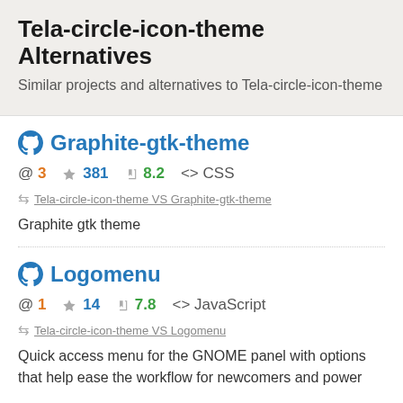Tela-circle-icon-theme Alternatives
Similar projects and alternatives to Tela-circle-icon-theme
Graphite-gtk-theme
@ 3  ☆ 381  ⚡ 8.2  <> CSS
Tela-circle-icon-theme VS Graphite-gtk-theme
Graphite gtk theme
Logomenu
@ 1  ☆ 14  ⚡ 7.8  <> JavaScript
Tela-circle-icon-theme VS Logomenu
Quick access menu for the GNOME panel with options that help ease the workflow for newcomers and power